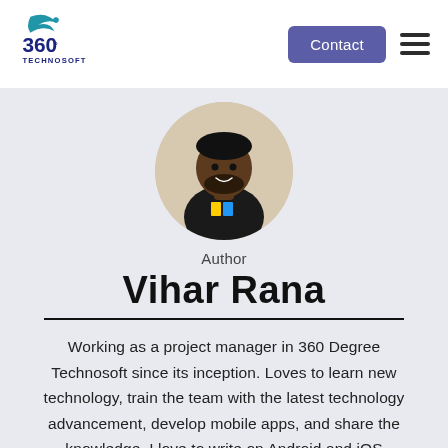[Figure (logo): 360 Technosoft logo with bird/swoosh graphic and '360°' text and 'TECHNOSOFT' below]
Contact
[Figure (photo): Circular profile photo of Vihar Rana, a man wearing a black t-shirt, smiling]
Author
Vihar Rana
Working as a project manager in 360 Degree Technosoft since its inception. Loves to learn new technology, train the team with the latest technology advancement, develop mobile apps, and share the knowledge. I love to write on Android and iOS updates, a guide to